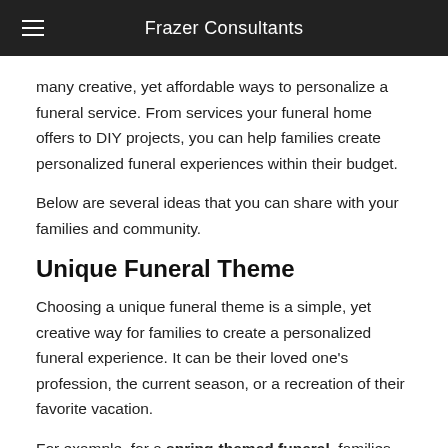Frazer Consultants
many creative, yet affordable ways to personalize a funeral service. From services your funeral home offers to DIY projects, you can help families create personalized funeral experiences within their budget.
Below are several ideas that you can share with your families and community.
Unique Funeral Theme
Choosing a unique funeral theme is a simple, yet creative way for families to create a personalized funeral experience. It can be their loved one's profession, the current season, or a recreation of their favorite vacation.
For example, for a spring-themed funeral, families can incorporate umbrellas, rain boots, and other spring-